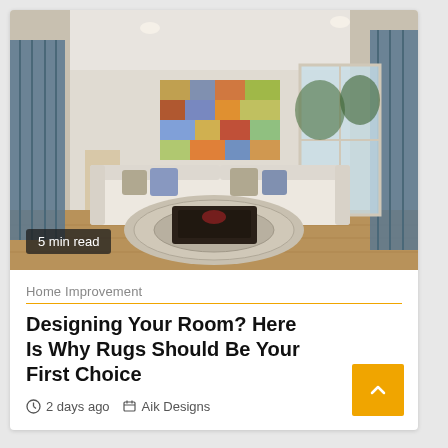[Figure (photo): Interior living room photo showing two white sofas, a round patterned rug, dark coffee table, colorful abstract wall art, and large windows with blue curtains.]
5 min read
Home Improvement
Designing Your Room? Here Is Why Rugs Should Be Your First Choice
2 days ago   Aik Designs